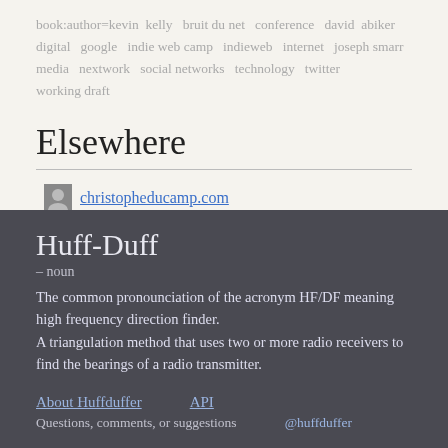book:author=kevin kelly  bruit du net  conference  david abiker  digital  google  indie web camp  indieweb  internet  joseph smarr  media  nextwork  social networks  technology  twitter  working draft
Elsewhere
christopheducamp.com
Huff-Duff
– noun
The common pronounciation of the acronym HF/DF meaning high frequency direction finder. A triangulation method that uses two or more radio receivers to find the bearings of a radio transmitter.
About Huffduffer   API   Questions, comments, or suggestions   @huffduffer